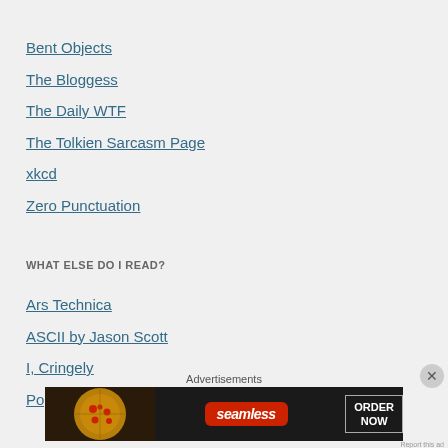Bent Objects
The Bloggess
The Daily WTF
The Tolkien Sarcasm Page
xkcd
Zero Punctuation
WHAT ELSE DO I READ?
Ars Technica
ASCII by Jason Scott
I, Cringely
Popehat
Advertisements
[Figure (screenshot): Seamless food delivery advertisement banner showing pizza and 'ORDER NOW' button]